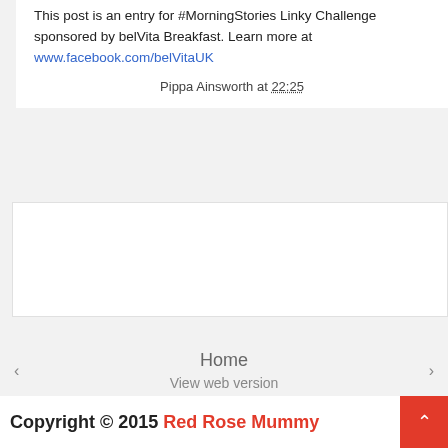This post is an entry for #MorningStories Linky Challenge sponsored by belVita Breakfast. Learn more at www.facebook.com/belVitaUK
Pippa Ainsworth at 22:25
[Figure (other): Empty white advertisement box]
Home
View web version
Copyright © 2015 Red Rose Mummy